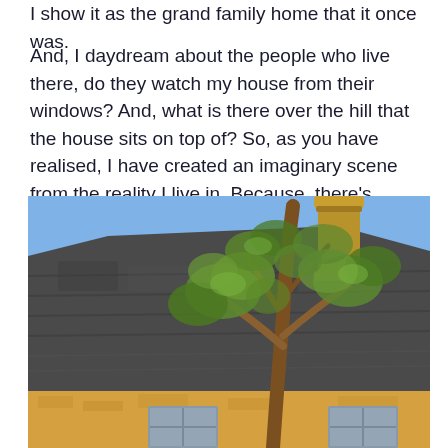I show it as the grand family home that it once was.
And, I daydream about the people who live there, do they watch my house from their windows? And, what is there over the hill that the house sits on top of? So, as you have realised, I have created an imaginary scene from the reality I live in. Because, there's always more than meets the eye, in my imagination anyway!
[Figure (illustration): A painting of a thatched-roof cottage with a yellow/ochre stone exterior. A tall cylindrical chimney pot is visible at the top center-right. Green leafy tree branches and trunk cross in front of the scene. Two small windows visible at the lower portion of the house. Sky is blue in the background.]